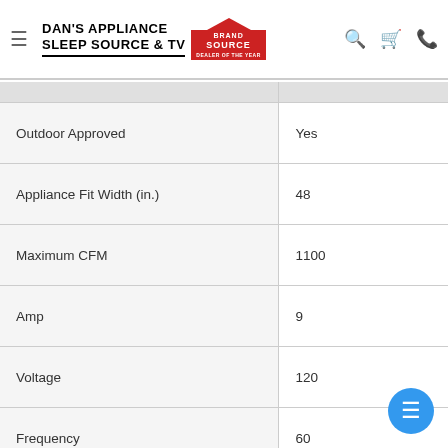[Figure (logo): Dan's Appliance Sleep Source & TV with Brand Source logo in header navigation bar]
|  |  |
| --- | --- |
|  |  |
| Outdoor Approved | Yes |
| Appliance Fit Width (in.) | 48 |
| Maximum CFM | 1100 |
| Amp | 9 |
| Voltage | 120 |
| Frequency | 60 |